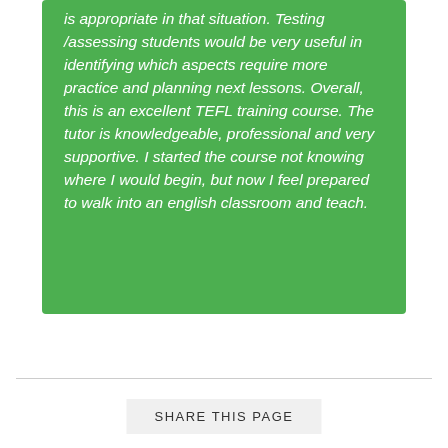is appropriate in that situation. Testing /assessing students would be very useful in identifying which aspects require more practice and planning next lessons. Overall, this is an excellent TEFL training course. The tutor is knowledgeable, professional and very supportive. I started the course not knowing where I would begin, but now I feel prepared to walk into an english classroom and teach.
SHARE THIS PAGE